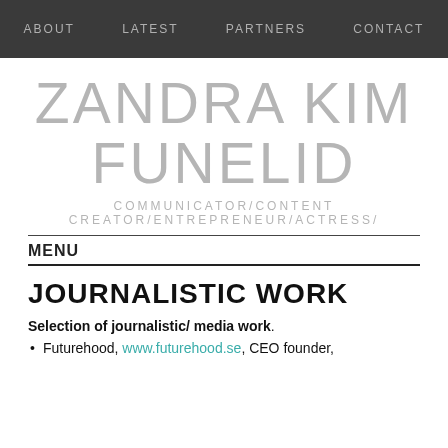ABOUT  LATEST  PARTNERS  CONTACT
ZANDRA KIM FUNELID
COMMUNICATOR/CONTENT CREATOR/ENTREPRENEUR/ACTRESS/
MENU
JOURNALISTIC WORK
Selection of journalistic/ media work.
Futurehood, www.futurehood.se, CEO founder,